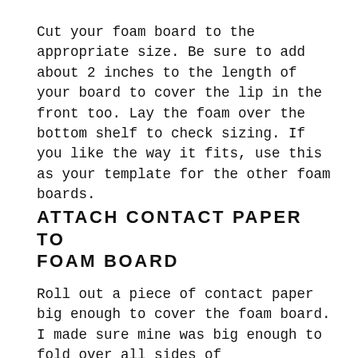Cut your foam board to the appropriate size. Be sure to add about 2 inches to the length of your board to cover the lip in the front too. Lay the foam over the bottom shelf to check sizing. If you like the way it fits, use this as your template for the other foam boards.
ATTACH CONTACT PAPER TO FOAM BOARD
Roll out a piece of contact paper big enough to cover the foam board. I made sure mine was big enough to fold over all sides of